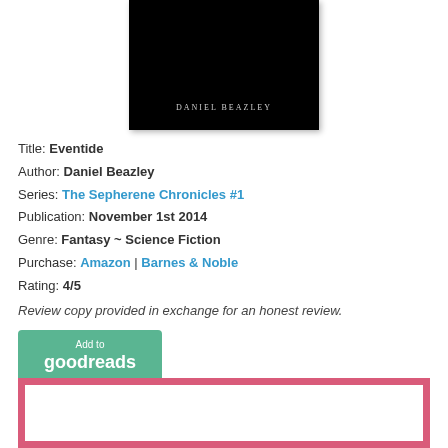[Figure (photo): Book cover with black background showing author name 'DANIEL BEAZLEY' in light gray text at the bottom]
Title: Eventide
Author: Daniel Beazley
Series: The Sepherene Chronicles #1
Publication: November 1st 2014
Genre: Fantasy ~ Science Fiction
Purchase: Amazon | Barnes & Noble
Rating: 4/5
Review copy provided in exchange for an honest review.
[Figure (logo): Green 'Add to goodreads' button]
[Figure (other): Pink-bordered white box at bottom of page (partially visible)]